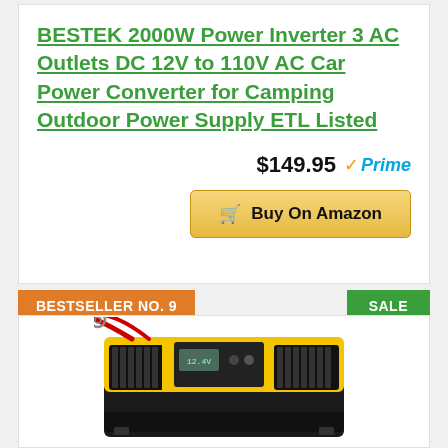BESTEK 2000W Power Inverter 3 AC Outlets DC 12V to 110V AC Car Power Converter for Camping Outdoor Power Supply ETL Listed
$149.95 Prime
Buy On Amazon
BESTSELLER NO. 9
SALE
[Figure (photo): Yellow and black power inverter with red cables, front-facing product photo]